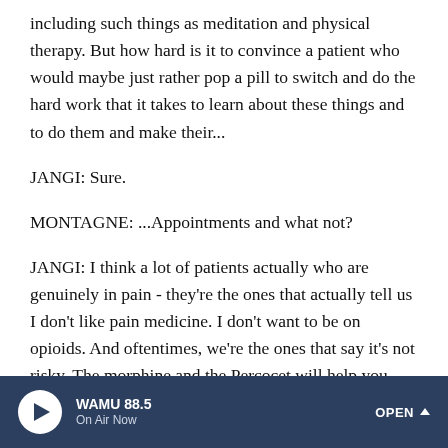including such things as meditation and physical therapy. But how hard is it to convince a patient who would maybe just rather pop a pill to switch and do the hard work that it takes to learn about these things and to do them and make their...
JANGI: Sure.
MONTAGNE: ...Appointments and what not?
JANGI: I think a lot of patients actually who are genuinely in pain - they're the ones that actually tell us I don't like pain medicine. I don't want to be on opioids. And oftentimes, we're the ones that say it's not risky. The morphine and the Percocet will help you through the first few days. A lot of patients are really looking for other solutions. That being
WAMU 88.5 On Air Now OPEN